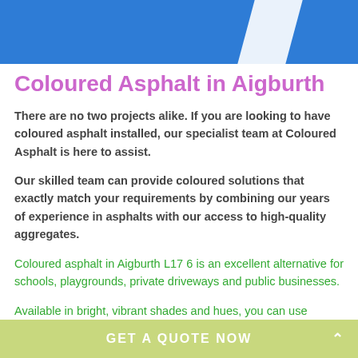[Figure (illustration): Blue banner header with white diagonal stripe]
Coloured Asphalt in Aigburth
There are no two projects alike. If you are looking to have coloured asphalt installed, our specialist team at Coloured Asphalt is here to assist.
Our skilled team can provide coloured solutions that exactly match your requirements by combining our years of experience in asphalts with our access to high-quality aggregates.
Coloured asphalt in Aigburth L17 6 is an excellent alternative for schools, playgrounds, private driveways and public businesses.
Available in bright, vibrant shades and hues, you can use
GET A QUOTE NOW